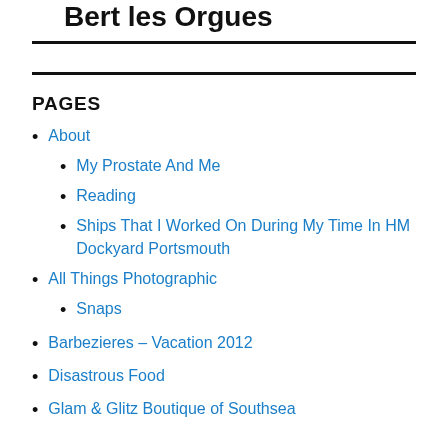Bert les Orgues
PAGES
About
My Prostate And Me
Reading
Ships That I Worked On During My Time In HM Dockyard Portsmouth
All Things Photographic
Snaps
Barbezieres – Vacation 2012
Disastrous Food
Glam & Glitz Boutique of Southsea